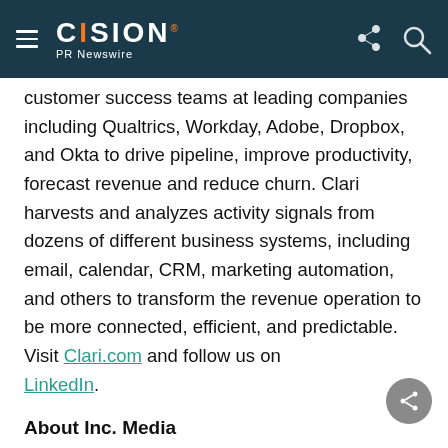CISION PR Newswire
customer success teams at leading companies including Qualtrics, Workday, Adobe, Dropbox, and Okta to drive pipeline, improve productivity, forecast revenue and reduce churn. Clari harvests and analyzes activity signals from dozens of different business systems, including email, calendar, CRM, marketing automation, and others to transform the revenue operation to be more connected, efficient, and predictable. Visit Clari.com and follow us on LinkedIn.
About Inc. Media
The world's most trusted business-media brand, Inc. offers entrepreneurs the knowledge, tools,